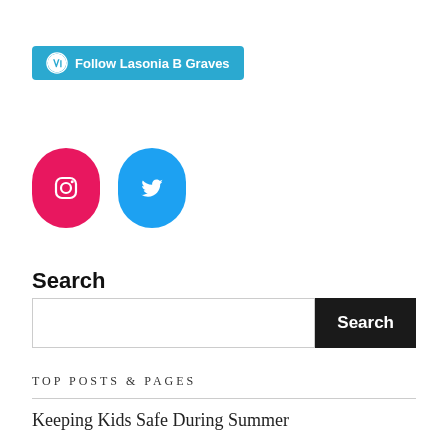[Figure (other): WordPress Follow button with teal/blue background reading 'Follow Lasonia B Graves' with WordPress logo icon]
[Figure (other): Two social media icons: pink/magenta Instagram icon (rounded pill shape) and blue Twitter bird icon (rounded pill shape)]
Search
[Figure (other): Search input field with dark 'Search' button on the right]
TOP POSTS & PAGES
Keeping Kids Safe During Summer